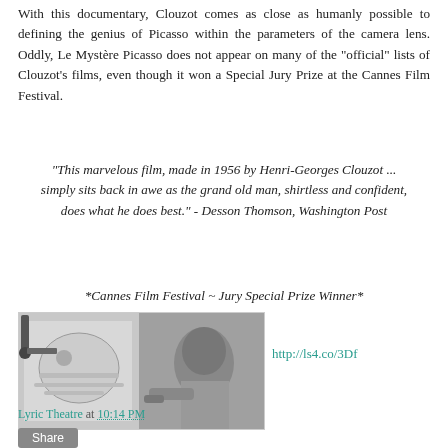With this documentary, Clouzot comes as close as humanly possible to defining the genius of Picasso within the parameters of the camera lens. Oddly, Le Mystère Picasso does not appear on many of the "official" lists of Clouzot's films, even though it won a Special Jury Prize at the Cannes Film Festival.
"This marvelous film, made in 1956 by Henri-Georges Clouzot ... simply sits back in awe as the grand old man, shirtless and confident, does what he does best." - Desson Thomson, Washington Post
*Cannes Film Festival ~ Jury Special Prize Winner*
[Figure (photo): Black and white photograph showing Picasso painting, viewed from the side, with art supplies visible]
http://ls4.co/3Df
Lyric Theatre at 10:14 PM